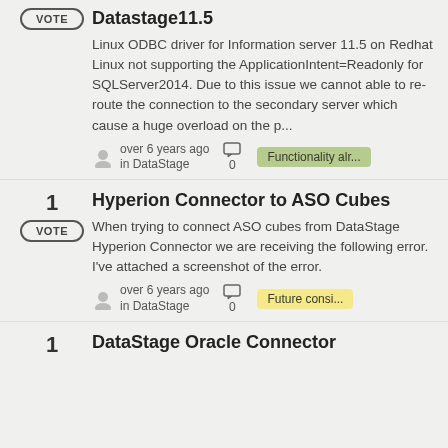Datastage11.5
Linux ODBC driver for Information server 11.5 on Redhat Linux not supporting the ApplicationIntent=Readonly for SQLServer2014. Due to this issue we cannot able to re-route the connection to the secondary server which cause a huge overload on the p...
over 6 years ago in DataStage  0  Functionality alr...
Hyperion Connector to ASO Cubes
When trying to connect ASO cubes from DataStage Hyperion Connector we are receiving the following error. I've attached a screenshot of the error.
over 6 years ago in DataStage  0  Future consi...
DataStage Oracle Connector